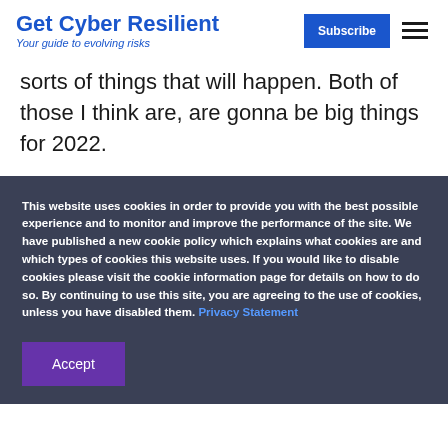Get Cyber Resilient — Your guide to evolving risks
sorts of things that will happen. Both of those I think are, are gonna be big things for 2022.
This website uses cookies in order to provide you with the best possible experience and to monitor and improve the performance of the site. We have published a new cookie policy which explains what cookies are and which types of cookies this website uses. If you would like to disable cookies please visit the cookie information page for details on how to do so. By continuing to use this site, you are agreeing to the use of cookies, unless you have disabled them. Privacy Statement
Accept